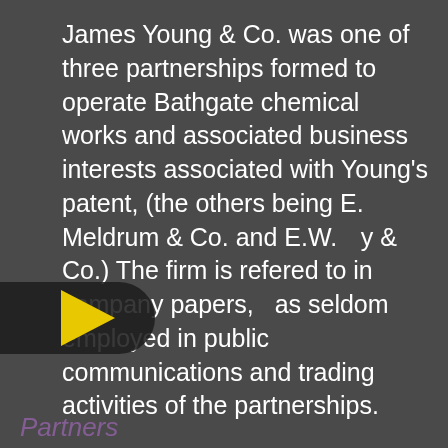James Young & Co. was one of three partnerships formed to operate Bathgate chemical works and associated business interests associated with Young's patent, (the others being E. Meldrum & Co. and E.W. [B]y & Co.) The firm is refered to in company papers, [b]as seldom employed in public communications and trading activities of the partnerships.
The firm of James Young managed the operation of Bathgate chemical works and the constuction of Addiewell works between the dissolution of the Bathgate partnerships at the end of 1864 and the formation of Young's Paraffin Light and Mineral Oil Company in January 1865. It also seems likely that the production of oil from Riddings in Derbyshire during 1848 was undertaken under the title of James Young & Co.
[Figure (other): Cookie consent overlay dialog on purple background with Accept and Deny buttons, partially obscuring the underlying article text. Contains cookie policy text, a Cookie Policy link, an Accept button, and a Deny button.]
Partners